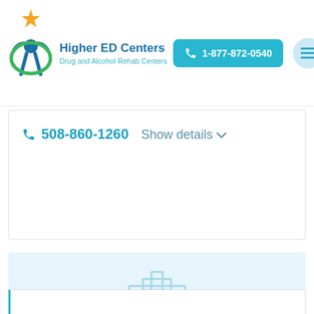Higher ED Centers - Drug and Alcohol Rehab Centers | 1-877-872-0540
508-860-1260  Show details
[Figure (illustration): Hospital building icon in light blue outline style on a light blue background]